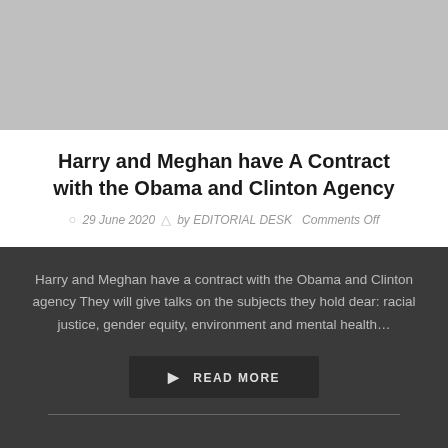[Figure (photo): Gray placeholder image at top of article card]
Harry and Meghan have A Contract with the Obama and Clinton Agency
29 June 2020  by EDITORIAL DESK  Comments Off
Harry and Meghan have a contract with the Obama and Clinton agency They will give talks on the subjects they hold dear: racial justice, gender equity, environment and mental health…
READ MORE